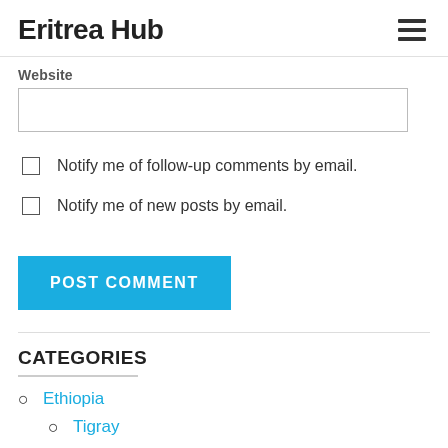Eritrea Hub
Website
Notify me of follow-up comments by email.
Notify me of new posts by email.
POST COMMENT
CATEGORIES
Ethiopia
Tigray